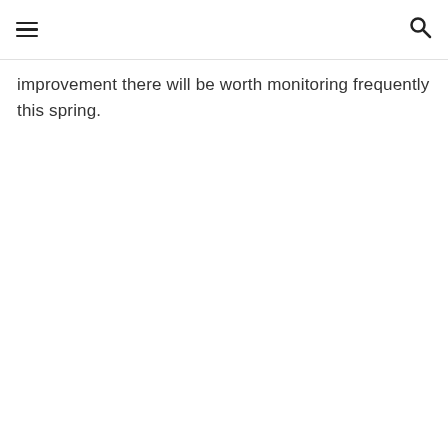[hamburger menu icon] [search icon]
improvement there will be worth monitoring frequently this spring.